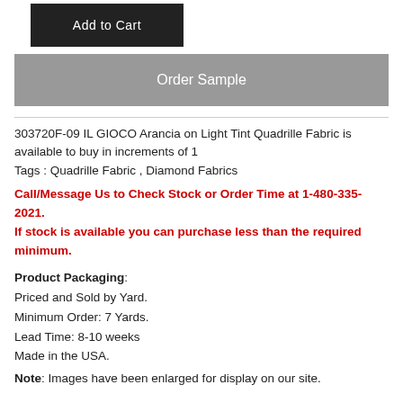Add to Cart
Order Sample
303720F-09 IL GIOCO Arancia on Light Tint Quadrille Fabric is available to buy in increments of 1
Tags : Quadrille Fabric , Diamond Fabrics
Call/Message Us to Check Stock or Order Time at 1-480-335-2021.
If stock is available you can purchase less than the required minimum.
Product Packaging:
Priced and Sold by Yard.
Minimum Order: 7 Yards.
Lead Time: 8-10 weeks
Made in the USA.
Note: Images have been enlarged for display on our site.